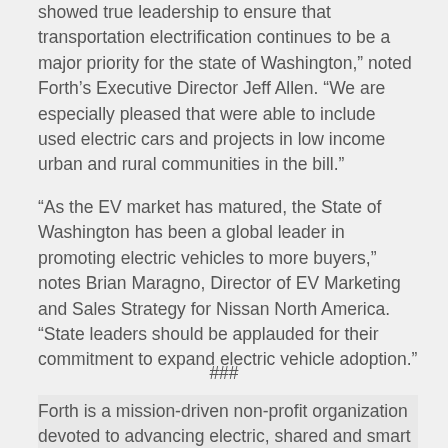showed true leadership to ensure that transportation electrification continues to be a major priority for the state of Washington,” noted Forth’s Executive Director Jeff Allen. “We are especially pleased that were able to include used electric cars and projects in low income urban and rural communities in the bill.”
“As the EV market has matured, the State of Washington has been a global leader in promoting electric vehicles to more buyers,” notes Brian Maragno, Director of EV Marketing and Sales Strategy for Nissan North America. “State leaders should be applauded for their commitment to expand electric vehicle adoption.”
###
Forth is a mission-driven non-profit organization devoted to advancing electric, shared and smart mobility. Please feel free to get in touch with us with any questions, comments